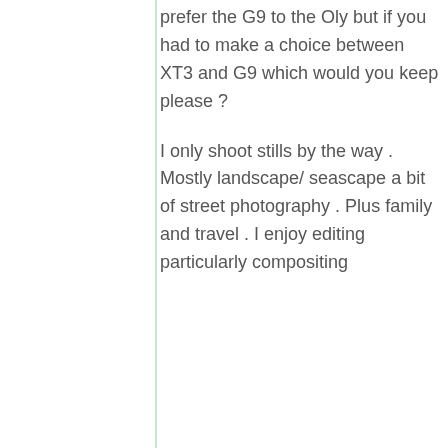prefer the G9 to the Oly but if you had to make a choice between XT3 and G9 which would you keep please ?
I only shoot stills by the way . Mostly landscape/ seascape a bit of street photography . Plus family and travel . I enjoy editing particularly compositing